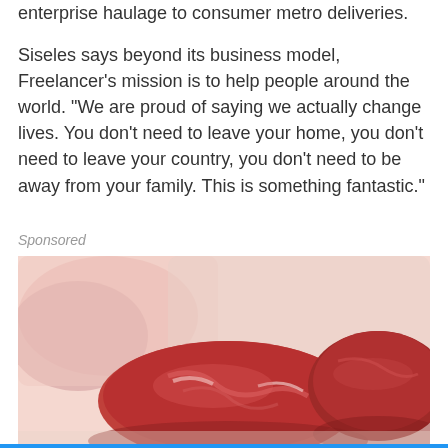enterprise haulage to consumer metro deliveries.
Siseles says beyond its business model, Freelancer’s mission is to help people around the world. “We are proud of saying we actually change lives. You don’t need to leave your home, you don’t need to leave your country, you don’t need to be away from your family. This is something fantastic.”
Sponsored
[Figure (photo): Close-up photo of raw red meat cuts on a light surface, used as an advertisement image.]